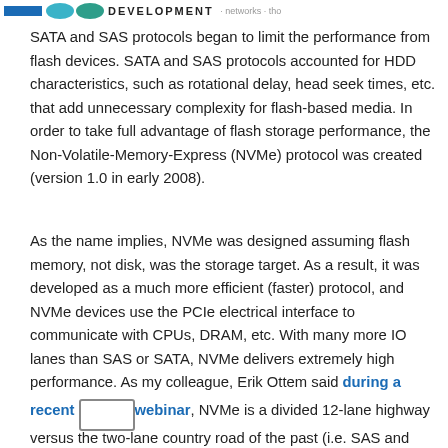DEVELOPMENT
SATA and SAS protocols began to limit the performance from flash devices. SATA and SAS protocols accounted for HDD characteristics, such as rotational delay, head seek times, etc. that add unnecessary complexity for flash-based media. In order to take full advantage of flash storage performance, the Non-Volatile-Memory-Express (NVMe) protocol was created (version 1.0 in early 2008).
As the name implies, NVMe was designed assuming flash memory, not disk, was the storage target. As a result, it was developed as a much more efficient (faster) protocol, and NVMe devices use the PCIe electrical interface to communicate with CPUs, DRAM, etc. With many more IO lanes than SAS or SATA, NVMe delivers extremely high performance. As my colleague, Erik Ottem said during a recent webinar, NVMe is a divided 12-lane highway versus the two-lane country road of the past (i.e. SAS and SATA). See